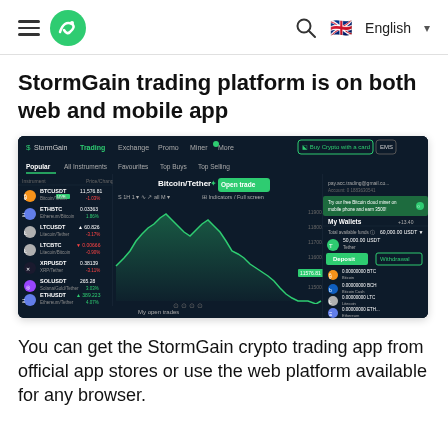StormGain — hamburger menu, logo, search, English language selector
StormGain trading platform is on both web and mobile app
[Figure (screenshot): Screenshot of the StormGain trading platform web interface showing Bitcoin/Tether chart with candlestick/line graph, instrument list on the left (BTCUSDT, ETHBTC, LTCUSDT, LTCBTC, XRPUSDT, SOLUSDT, ETHUSDT), wallet panel on the right with deposit/withdrawal buttons, and 'My open trades' section at the bottom.]
You can get the StormGain crypto trading app from official app stores or use the web platform available for any browser.